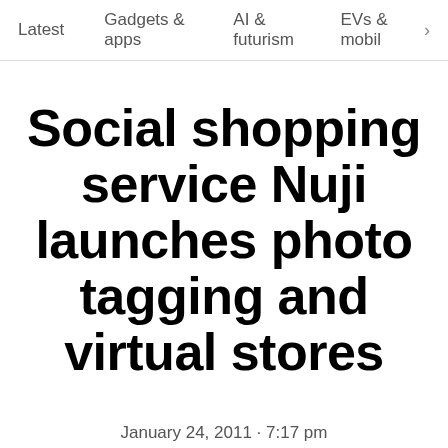Latest   Gadgets & apps   AI & futurism   EVs & mobil… >
Social shopping service Nuji launches photo tagging and virtual stores
January 24, 2011 · 7:17 pm